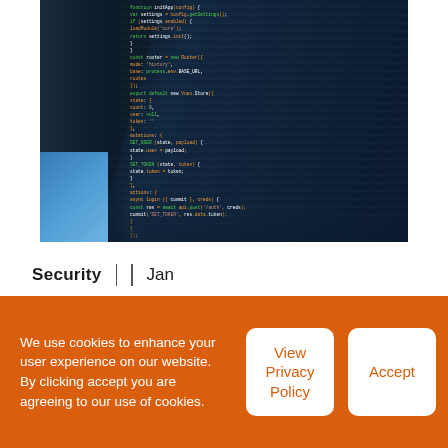[Figure (photo): Close-up photo of a computer monitor displaying colorful code/source code with syntax highlighting in green, orange, white, and yellow on a dark background. Two monitor panels visible.]
Security   |   Jan
We use cookies to enhance your user experience on our website. By clicking accept you are agreeing to our use of cookies.
View Privacy Policy
Accept